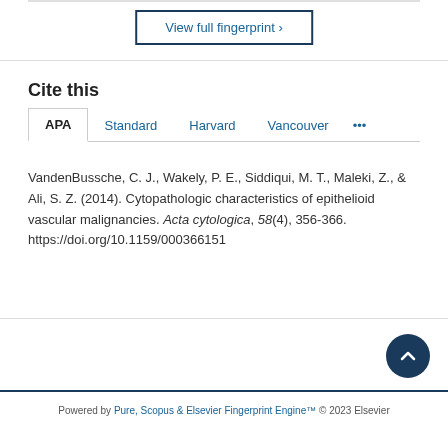[Figure (other): View full fingerprint button with blue border]
Cite this
APA  Standard  Harvard  Vancouver  ...
VandenBussche, C. J., Wakely, P. E., Siddiqui, M. T., Maleki, Z., & Ali, S. Z. (2014). Cytopathologic characteristics of epithelioid vascular malignancies. Acta cytologica, 58(4), 356-366. https://doi.org/10.1159/000366151
Powered by Pure, Scopus & Elsevier Fingerprint Engine™ © 2023 Elsevier